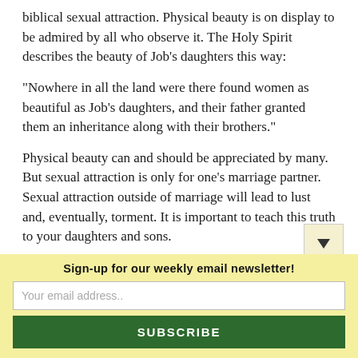biblical sexual attraction. Physical beauty is on display to be admired by all who observe it. The Holy Spirit describes the beauty of Job's daughters this way:
“Nowhere in all the land were there found women as beautiful as Job’s daughters, and their father granted them an inheritance along with their brothers.”
Physical beauty can and should be appreciated by many. But sexual attraction is only for one’s marriage partner. Sexual attraction outside of marriage will lead to lust and, eventually, torment. It is important to teach this truth to your daughters and sons.
Sign-up for our weekly email newsletter!
Your email address..
SUBSCRIBE